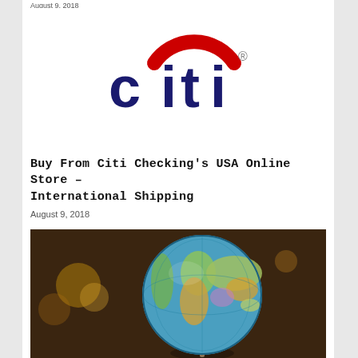August 9, 2018
[Figure (logo): Citi bank logo with red arc above dark blue 'citi' text and registered trademark symbol]
Buy From Citi Checking's USA Online Store – International Shipping
August 9, 2018
[Figure (photo): Close-up photograph of a colorful globe/world map on a stand, with blurred warm bokeh background lighting]